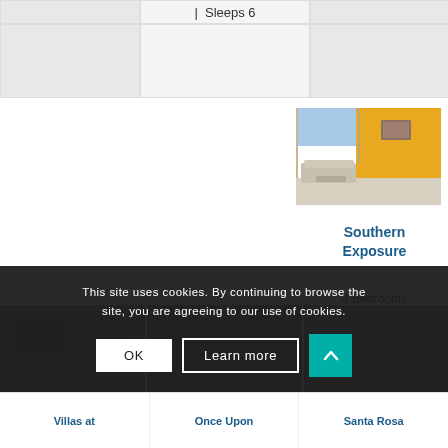| Sleeps 6
[Figure (photo): Interior photo of Southern Exposure property showing living room with yellow accent wall and city views]
Southern Exposure
4 Bedrooms | Sleeps 14
This site uses cookies. By continuing to browse the site, you are agreeing to our use of cookies.
OK
Learn more
Villas at
Once Upon
Santa Rosa